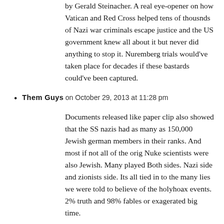by Gerald Steinacher. A real eye-opener on how Vatican and Red Cross helped tens of thousnds of Nazi war criminals escape justice and the US government knew all about it but never did anything to stop it. Nuremberg trials would've taken place for decades if these bastards could've been captured.
Them Guys on October 29, 2013 at 11:28 pm
Documents released like paper clip also showed that the SS nazis had as many as 150,000 Jewish german members in their ranks. And most if not all of the orig Nuke scientists were also Jewish. Many played Both sides. Nazi side and zionists side. Its all tied in to the many lies we were told to believe of the holyhoax events. 2% truth and 98% fables or exagerated big time.